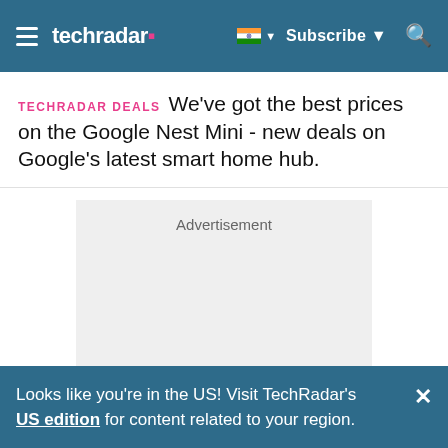techradar — Subscribe
TECHRADAR DEALS   We've got the best prices on the Google Nest Mini - new deals on Google's latest smart home hub.
[Figure (other): Advertisement placeholder box with grey background]
Looks like you're in the US! Visit TechRadar's US edition for content related to your region.